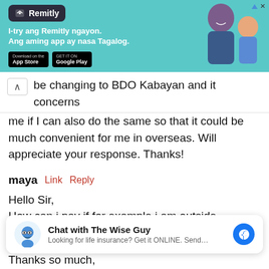[Figure (screenshot): Remitly advertisement banner with teal background, logo, tagline 'I-try ang Remitly ngayon. Ang aming app ay nasa Tagalog.' and app store buttons, with photo of two people on the right]
be changing to BDO Kabayan and it concerns me if I can also do the same so that it could be much convenient for me in overseas. Will appreciate your response. Thanks!
maya  Link  Reply
Hello Sir,
How can i pay if for example i am outside philippines and i don't have any local bank
[Figure (screenshot): Chat widget: 'Chat with The Wise Guy' with messenger icon. Sub-text: 'Looking for life insurance? Get it ONLINE. Send...']
Thanks so much,